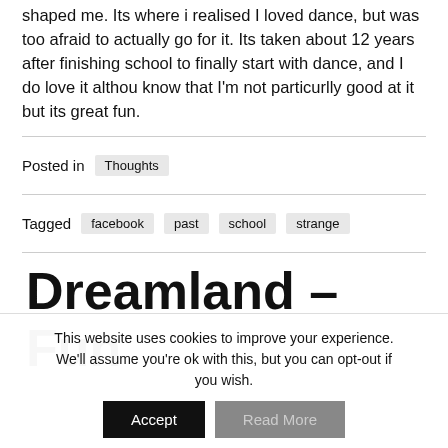shaped me. Its where i realised I loved dance, but was too afraid to actually go for it. Its taken about 12 years after finishing school to finally start with dance, and I do love it althou know that I'm not particurlly good at it but its great fun.
Posted in Thoughts
Tagged facebook past school strange
Dreamland – Fun
This website uses cookies to improve your experience. We'll assume you're ok with this, but you can opt-out if you wish. Accept Read More